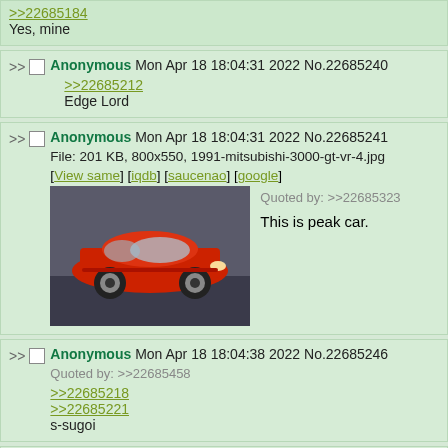>>22685184
Yes, mine
Anonymous Mon Apr 18 18:04:31 2022 No.22685240
>>22685212
Edge Lord
Anonymous Mon Apr 18 18:04:31 2022 No.22685241
File: 201 KB, 800x550, 1991-mitsubishi-3000-gt-vr-4.jpg
[View same] [iqdb] [saucenao] [google]
Quoted by: >>22685323
This is peak car.
Anonymous Mon Apr 18 18:04:38 2022 No.22685246
Quoted by: >>22685458
>>22685218
>>22685221
s-sugoi
Anonymous Mon Apr 18 18:04:50 2022 No.22685254